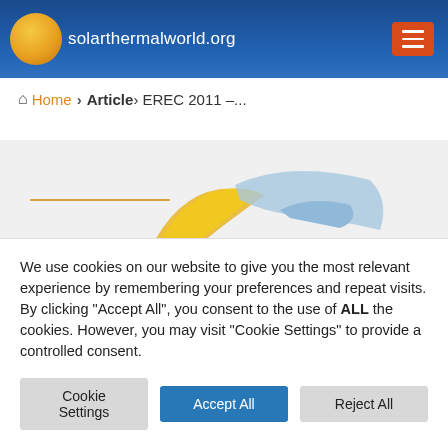solarthermalworld.org
Home › Article› EREC 2011 –...
[Figure (logo): Partial article header image with solar thermal world logo graphic showing gold arc and blue map shapes]
We use cookies on our website to give you the most relevant experience by remembering your preferences and repeat visits. By clicking "Accept All", you consent to the use of ALL the cookies. However, you may visit "Cookie Settings" to provide a controlled consent.
Cookie Settings | Accept All | Reject All